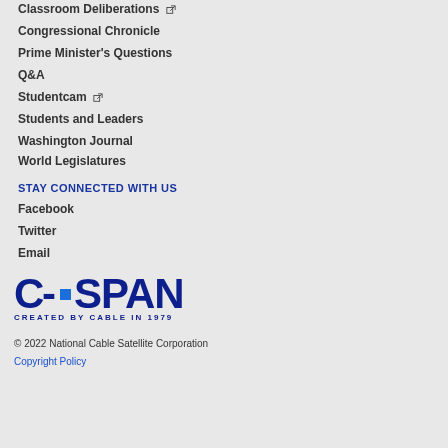Classroom Deliberations [external link]
Congressional Chronicle
Prime Minister's Questions
Q&A
Studentcam [external link]
Students and Leaders
Washington Journal
World Legislatures
STAY CONNECTED WITH US
Facebook
Twitter
Email
[Figure (logo): C-SPAN logo with blue square dot between C and SPAN, subtitle: CREATED BY CABLE IN 1979]
© 2022 National Cable Satellite Corporation
Copyright Policy